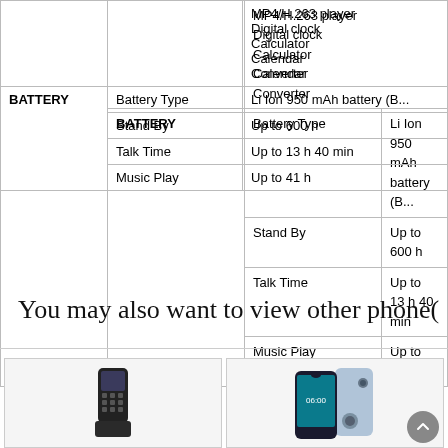| Category | Feature | Value |
| --- | --- | --- |
|  |  | MP4/H.263 player |
|  |  | Digital clock |
|  |  | Calculator |
|  |  | Calendar |
|  |  | Converter |
| BATTERY | Battery Type | Li Ion 950 mAh battery (B... |
|  | Stand By | Up to 600 h |
|  | Talk Time | Up to 13 h 40 min |
|  | Music Play | Up to 41 h |
You may also want to view other phone(
[Figure (photo): Two Nokia feature/smartphone product cards side by side. Left card shows a Nokia flip/bar phone. Right card shows a Nokia smartphone with teardrop notch display.]